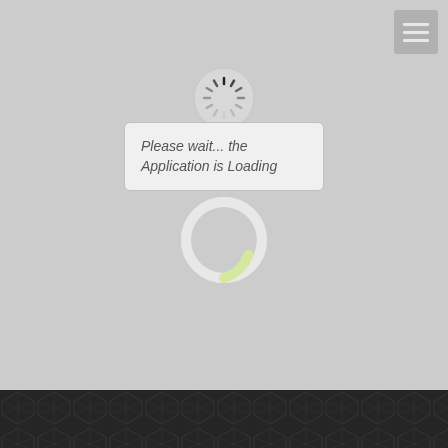[Figure (screenshot): Hamburger menu button in top-right corner, grey square with three white horizontal lines]
[Figure (other): Small circular spinner/loading indicator with radiating tick marks, top center of page]
Please wait... the Application is Loading
[Figure (other): Large circular progress ring, mostly light grey with a small yellowish-green segment near bottom-right]
[Figure (other): Dark footer band with repeating geometric/hexagonal pattern in dark charcoal]